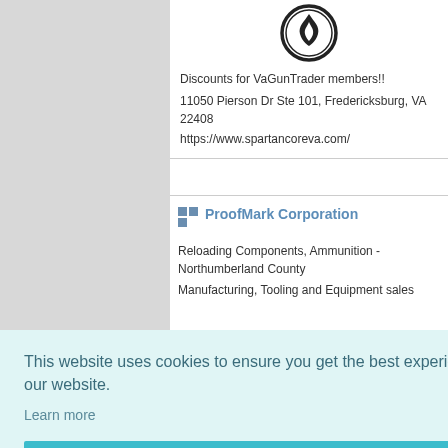[Figure (logo): Circular emblem/logo with a flame icon, black and white decorative border]
Discounts for VaGunTrader members!!
11050 Pierson Dr Ste 101, Fredericksburg, VA 22408
https://www.spartancoreva.com/
ProofMark Corporation
Reloading Components, Ammunition - Northumberland County
Manufacturing, Tooling and Equipment sales
9
This website uses cookies to ensure you get the best experience on our website.
Learn more
Got it!
een, VA
804-633-2222 - Monday-Saturday 11:00pm-